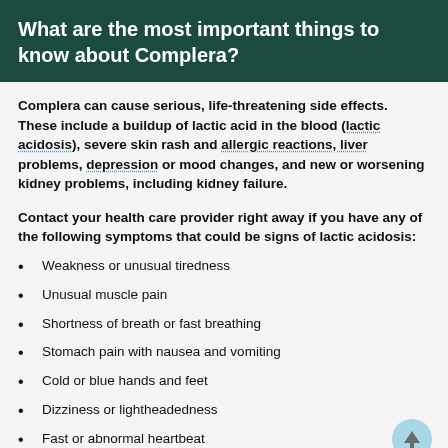What are the most important things to know about Complera?
Complera can cause serious, life-threatening side effects. These include a buildup of lactic acid in the blood (lactic acidosis), severe skin rash and allergic reactions, liver problems, depression or mood changes, and new or worsening kidney problems, including kidney failure.
Contact your health care provider right away if you have any of the following symptoms that could be signs of lactic acidosis:
Weakness or unusual tiredness
Unusual muscle pain
Shortness of breath or fast breathing
Stomach pain with nausea and vomiting
Cold or blue hands and feet
Dizziness or lightheadedness
Fast or abnormal heartbeat